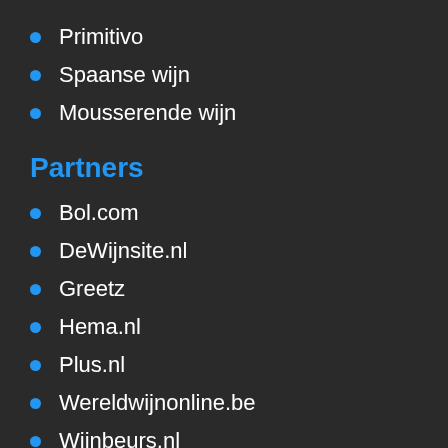Primitivo
Spaanse wijn
Mousserende wijn
Partners
Bol.com
DeWijnsite.nl
Greetz
Hema.nl
Plus.nl
Wereldwijnonline.be
Wijnbeurs.nl
Wijnvoordeel.nl
Alle wijnen